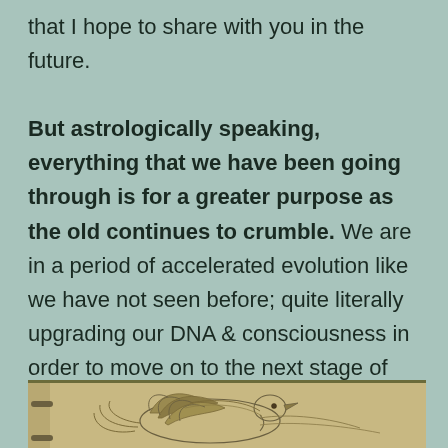that I hope to share with you in the future.

But astrologically speaking, everything that we have been going through is for a greater purpose as the old continues to crumble. We are in a period of accelerated evolution like we have not seen before; quite literally upgrading our DNA & consciousness in order to move on to the next stage of our evolution as a species.
[Figure (illustration): A sketch illustration on a tan/parchment background showing a bird (possibly a phoenix or eagle) with detailed feather work, viewed from the side. The page appears to be from a spiral-bound notebook with visible binding rings on the left side.]